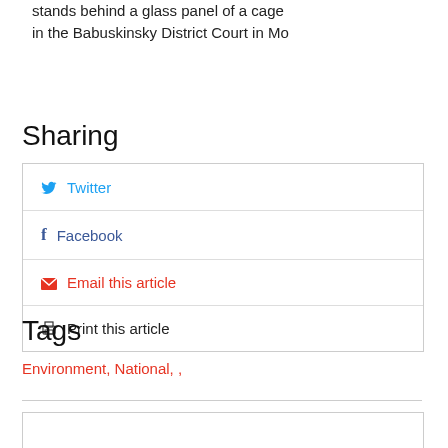stands behind a glass panel of a cage in the Babuskinsky District Court in Mo
Sharing
Twitter
Facebook
Email this article
Print this article
Tags
Environment, National, ,